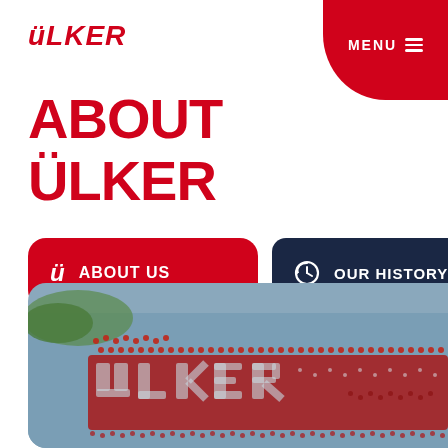ÜLKER
MENU
ABOUT ÜLKER
ABOUT US
OUR HISTORY
[Figure (photo): Aerial view of a large crowd of people arranged to form the ÜLKER logo text on a wide open ground, seen from above. People in red and white form the letters.]